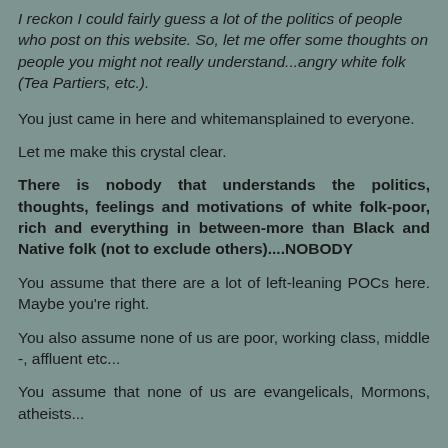I reckon I could fairly guess a lot of the politics of people who post on this website. So, let me offer some thoughts on people you might not really understand...angry white folk (Tea Partiers, etc.).
You just came in here and whitemansplained to everyone.
Let me make this crystal clear.
There is nobody that understands the politics, thoughts, feelings and motivations of white folk-poor, rich and everything in between-more than Black and Native folk (not to exclude others)....NOBODY
You assume that there are a lot of left-leaning POCs here. Maybe you're right.
You also assume none of us are poor, working class, middle -, affluent etc...
You assume that none of us are evangelicals, Mormons, atheists...